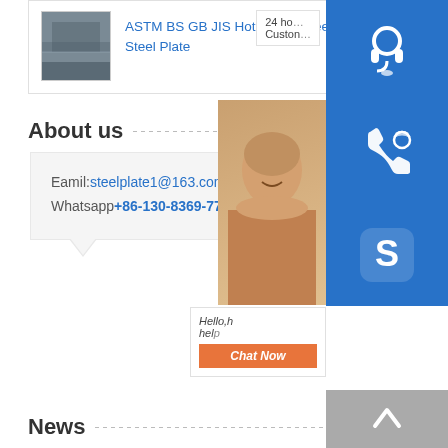[Figure (photo): Product image thumbnail - steel coils or hot rolled steel plate industrial photo]
ASTM BS GB JIS Hot Rolled Steel Coils Hr Steel Plate
About us
Eamil: steelplate1@163.com
Whatsapp +86-130-8369-7781
[Figure (illustration): Floating sidebar with customer service icons: headset icon (blue), phone icon (blue), Skype icon (blue), and chat now button. Also shows partial photo of woman customer service representative.]
News